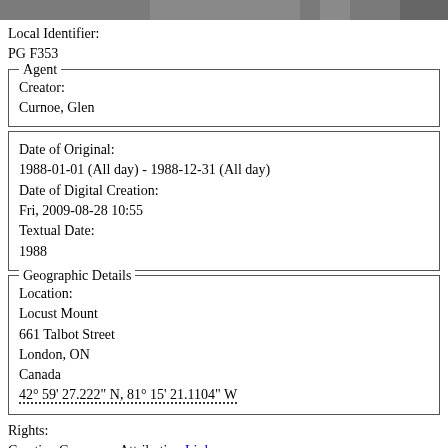[Figure (photo): Black and white photograph strip at top of page]
Local Identifier:
PG F353
Agent
Creator:
Curnoe, Glen
Date of Original:
1988-01-01 (All day) - 1988-12-31 (All day)
Date of Digital Creation:
Fri, 2009-08-28 10:55
Textual Date:
1988
Geographic Details
Location:
Locust Mount
661 Talbot Street
London, ON
Canada
42° 59' 27.222" N, 81° 15' 21.1104" W
Rights:
Creative Commons Attribution Link
Related Resources: